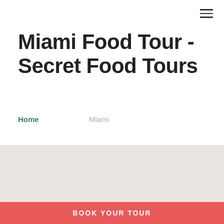Miami Food Tour - Secret Food Tours
Home
Miami
Also Recommended By
We'll show you a side of South Beach most p never see. Your Secret Food Tours: Miami
BOOK YOUR TOUR